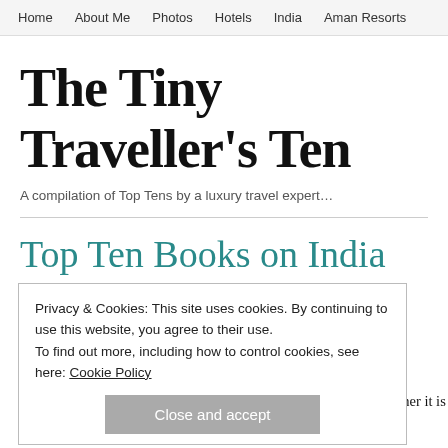Home   About Me   Photos   Hotels   India   Aman Resorts
The Tiny Traveller's Ten
A compilation of Top Tens by a luxury travel expert…
Top Ten Books on India
Privacy & Cookies: This site uses cookies. By continuing to use this website, you agree to their use.
To find out more, including how to control cookies, see here: Cookie Policy
Close and accept
read up before I go, then while I a country, or subcontinent rea ories, cultures and cuisines, I ha even begin understanding its people, its past and its present. Whether it is light-